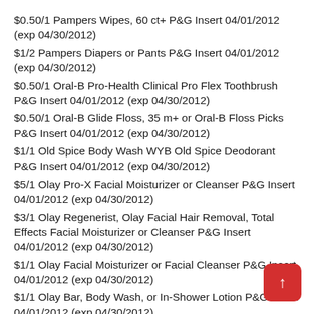$0.50/1 Pampers Wipes, 60 ct+ P&G Insert 04/01/2012 (exp 04/30/2012)
$1/2 Pampers Diapers or Pants P&G Insert 04/01/2012 (exp 04/30/2012)
$0.50/1 Oral-B Pro-Health Clinical Pro Flex Toothbrush P&G Insert 04/01/2012 (exp 04/30/2012)
$0.50/1 Oral-B Glide Floss, 35 m+ or Oral-B Floss Picks P&G Insert 04/01/2012 (exp 04/30/2012)
$1/1 Old Spice Body Wash WYB Old Spice Deodorant P&G Insert 04/01/2012 (exp 04/30/2012)
$5/1 Olay Pro-X Facial Moisturizer or Cleanser P&G Insert 04/01/2012 (exp 04/30/2012)
$3/1 Olay Regenerist, Olay Facial Hair Removal, Total Effects Facial Moisturizer or Cleanser P&G Insert 04/01/2012 (exp 04/30/2012)
$1/1 Olay Facial Moisturizer or Facial Cleanser P&G Insert 04/01/2012 (exp 04/30/2012)
$1/1 Olay Bar, Body Wash, or In-Shower Lotion P&G Insert 04/01/2012 (exp 04/30/2012)